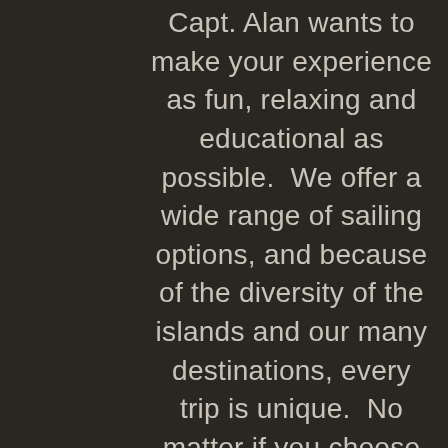Capt. Alan wants to make your experience as fun, relaxing and educational as possible.  We offer a wide range of sailing options, and because of the diversity of the islands and our many destinations, every trip is unique.  No matter if you choose one of our shared tours or a private charter you are sure to find a combination of exhilaration, awe, and relaxation.  Send us a message or call us to talk about your own wishes.